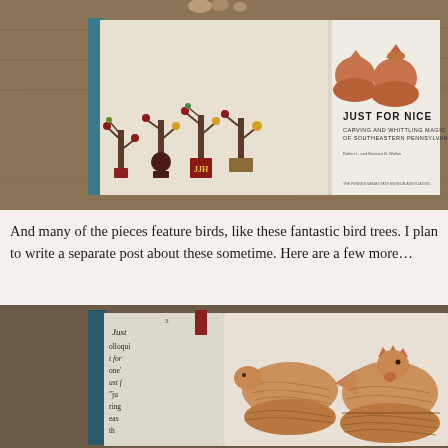[Figure (photo): Open book showing 'Just For Nice: Carving and Whittling Magic of Southeastern Pennsylvania' — left page shows four decorative bird trees on colored bases, right page shows title and two terracotta bird figurines as cover art, book resting on wood surface.]
And many of the pieces feature birds, like these fantastic bird tr... write a separate post about these sometime. Here are a few more...
[Figure (photo): Open book with carved wooden bird figurines — a dove/pigeon on left and a rooster on right, both sitting in textured basket-like bases carved from wood, book page visible on left side with text.]